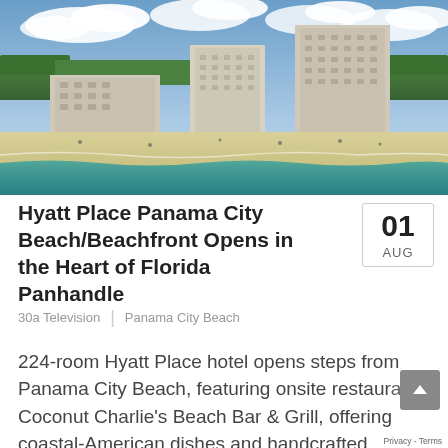[Figure (photo): Aerial view of Hyatt Place Panama City Beach hotel towers and beachfront with turquoise Gulf water, white sandy beach with beachgoers, and green trees in background under partly cloudy sky]
Hyatt Place Panama City Beach/Beachfront Opens in the Heart of Florida Panhandle
01 AUG
30a Television | Panama City Beach
224-room Hyatt Place hotel opens steps from Panama City Beach, featuring onsite restaurant, Coconut Charlie's Beach Bar & Grill, offering coastal-American dishes and handcrafted